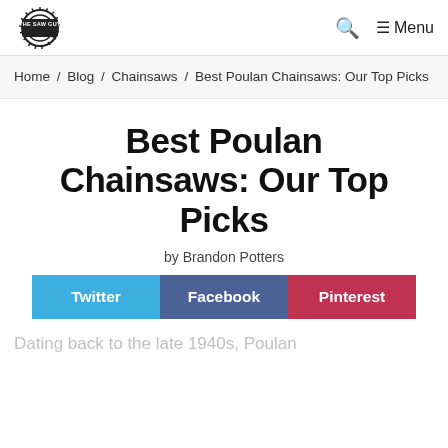THE SAW GUY — Menu
Home / Blog / Chainsaws / Best Poulan Chainsaws: Our Top Picks
Best Poulan Chainsaws: Our Top Picks
by Brandon Potters
Twitter  Facebook  Pinterest
Dating back to the late 1940s, Poulan